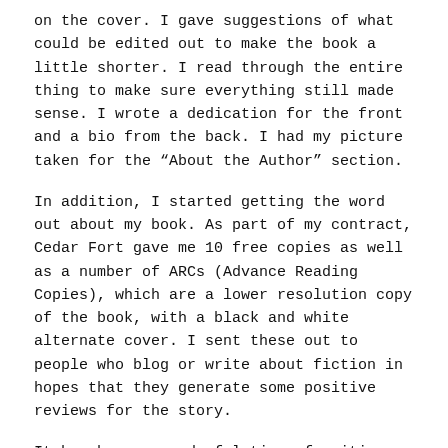on the cover. I gave suggestions of what could be edited out to make the book a little shorter. I read through the entire thing to make sure everything still made sense. I wrote a dedication for the front and a bio from the back. I had my picture taken for the “About the Author” section.
In addition, I started getting the word out about my book. As part of my contract, Cedar Fort gave me 10 free copies as well as a number of ARCs (Advance Reading Copies), which are a lower resolution copy of the book, with a black and white alternate cover. I sent these out to people who blog or write about fiction in hopes that they generate some positive reviews for the story.
It has been a wonderful time of waiting and anticipation.